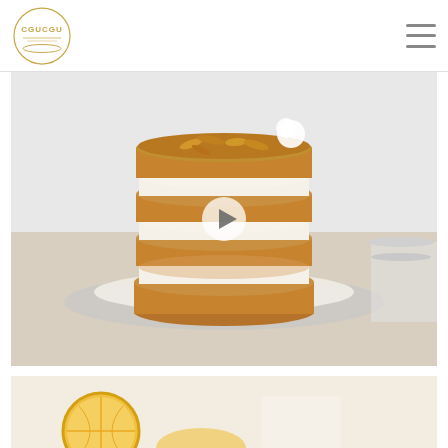CGUCGU logo and navigation menu
[Figure (photo): A tall layered cake with alternating golden-brown brioche layers and white cream filling, topped with caramelized nuts/almonds, sitting on a white marble plate with parchment paper. A play button overlay is visible in the center of the image.]
[Figure (photo): Partial view of sliced lemons on a white surface, bottom portion of page.]